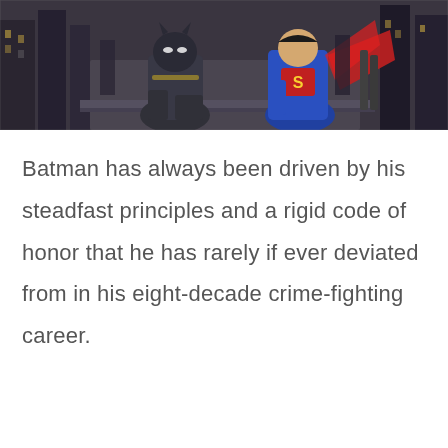[Figure (photo): Comic-style illustration of Batman and Superman crouching on a rooftop in a dark city setting. Batman is in grey armored suit on the left, Superman in blue suit with red cape on the right. City buildings visible in the background.]
Batman has always been driven by his steadfast principles and a rigid code of honor that he has rarely if ever deviated from in his eight-decade crime-fighting career.